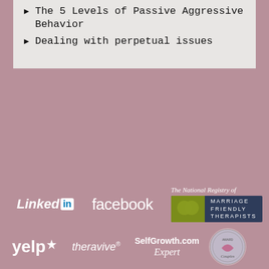The 5 Levels of Passive Aggressive Behavior
Dealing with perpetual issues
[Figure (logo): LinkedIn logo in white]
[Figure (logo): Facebook logo in white]
[Figure (logo): The National Registry of Marriage Friendly Therapists badge]
[Figure (logo): Yelp logo in white]
[Figure (logo): Theravive logo in white]
[Figure (logo): SelfGrowth.com Expert logo]
[Figure (logo): Couples therapy badge/seal]